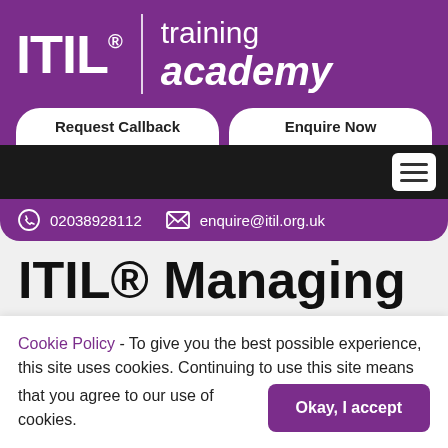[Figure (logo): ITIL® Training Academy logo with purple background, white ITIL® text and 'training academy' text, with 'Request Callback' and 'Enquire Now' buttons]
02038928112
enquire@itil.org.uk
ITIL® Managing
Cookie Policy - To give you the best possible experience, this site uses cookies. Continuing to use this site means that you agree to our use of cookies.
Okay, I accept